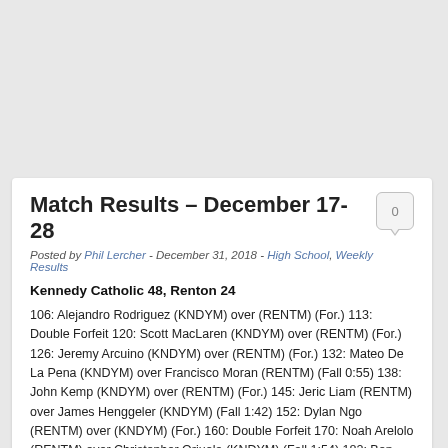Match Results – December 17-28
Posted by Phil Lercher - December 31, 2018 - High School, Weekly Results
Kennedy Catholic 48, Renton 24
106: Alejandro Rodriguez (KNDYM) over (RENTM) (For.) 113: Double Forfeit 120: Scott MacLaren (KNDYM) over (RENTM) (For.) 126: Jeremy Arcuino (KNDYM) over (RENTM) (For.) 132: Mateo De La Pena (KNDYM) over Francisco Moran (RENTM) (Fall 0:55) 138: John Kemp (KNDYM) over (RENTM) (For.) 145: Jeric Liam (RENTM) over James Henggeler (KNDYM) (Fall 1:42) 152: Dylan Ngo (RENTM) over (KNDYM) (For.) 160: Double Forfeit 170: Noah Arelolo (RENTM) over Christopher Orjuela (KNDYM) (Fall 1:54) 182: Ben Olebar (RENTM) over Deuce Kuykendall (KNDYM) (Fall 1:30) 195: Cole Stephenson (KNDYM) over (RENTM) (For.) 220: Jahvius Leui (KNDYM) over (RENTM) (For.) 285: Jacob